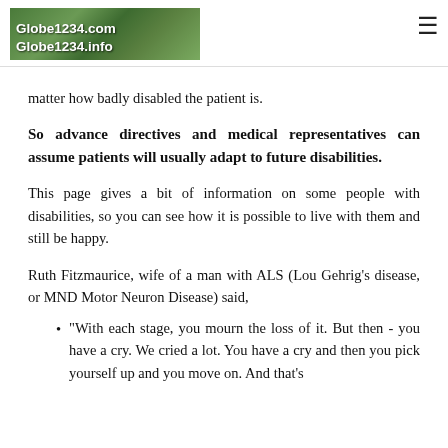Globe1234.com Globe1234.info
matter how badly disabled the patient is.
So advance directives and medical representatives can assume patients will usually adapt to future disabilities.
This page gives a bit of information on some people with disabilities, so you can see how it is possible to live with them and still be happy.
Ruth Fitzmaurice, wife of a man with ALS (Lou Gehrig's disease, or MND Motor Neuron Disease) said,
"With each stage, you mourn the loss of it. But then - you have a cry. We cried a lot. You have a cry and then you pick yourself up and you move on. And that's